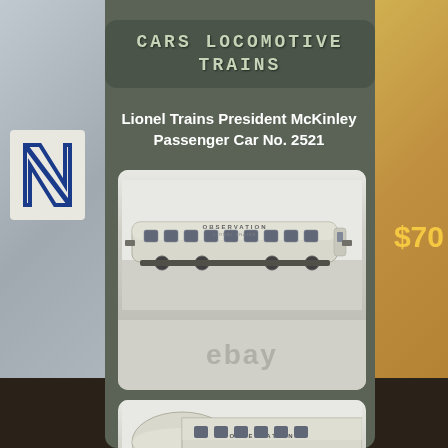CARS LOCOMOTIVE TRAINS
Lionel Trains President McKinley Passenger Car No. 2521
[Figure (photo): Silver Lionel Trains observation passenger car model No. 2521 with 'OBSERVATION' text on side, displayed on white background with eBay watermark logo. A partial second photo shows another view of the same car's front/nose section.]